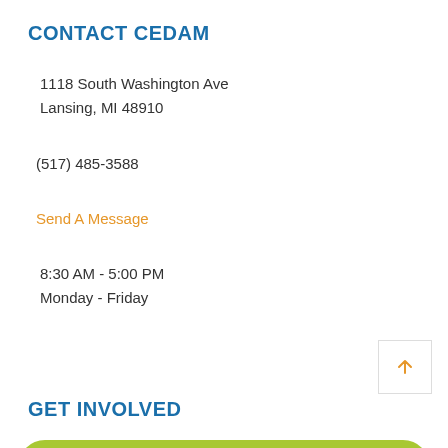CONTACT CEDAM
1118 South Washington Ave
Lansing, MI 48910
(517) 485-3588
Send A Message
8:30 AM - 5:00 PM
Monday - Friday
GET INVOLVED
BECOME A MEMBER
DONATE TO CEDAM